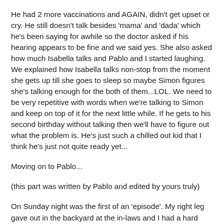He had 2 more vaccinations and AGAIN, didn't get upset or cry. He still doesn't talk besides 'mama' and 'dada' which he's been saying for awhile so the doctor asked if his hearing appears to be fine and we said yes. She also asked how much Isabella talks and Pablo and I started laughing. We explained how Isabella talks non-stop from the moment she gets up till she goes to sleep so maybe Simon figures she's talking enough for the both of them...LOL. We need to be very repetitive with words when we're talking to Simon and keep on top of it for the next little while. If he gets to his second birthday without talking then we'll have to figure out what the problem is. He's just such a chilled out kid that I think he's just not quite ready yet...
Moving on to Pablo...
(this part was written by Pablo and edited by yours truly)
On Sunday night was the first of an 'episode'. My right leg gave out in the backyard at the in-laws and I had a hard time making it into the house, where at that point I could not even lift my arm above my shoulder. I also felt like someone was